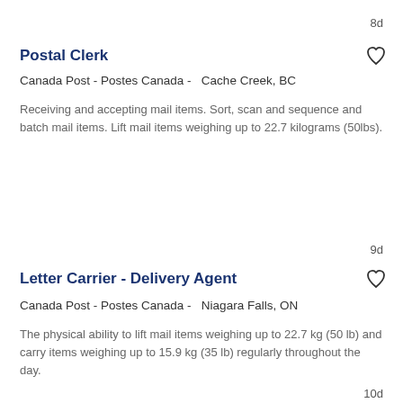8d
Postal Clerk
Canada Post - Postes Canada -  Cache Creek, BC
Receiving and accepting mail items. Sort, scan and sequence and batch mail items. Lift mail items weighing up to 22.7 kilograms (50lbs).
9d
Letter Carrier - Delivery Agent
Canada Post - Postes Canada -  Niagara Falls, ON
The physical ability to lift mail items weighing up to 22.7 kg (50 lb) and carry items weighing up to 15.9 kg (35 lb) regularly throughout the day.
10d